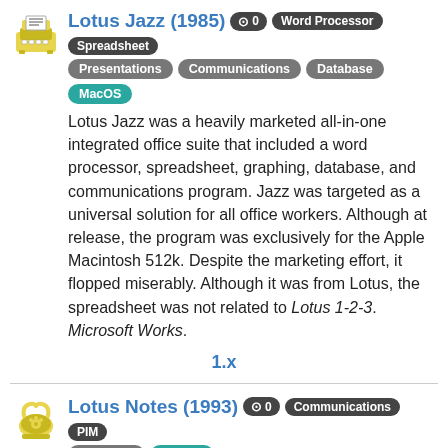Lotus Jazz (1985)
Word Processor, Spreadsheet, Presentations, Communications, Database, MacOS
Lotus Jazz was a heavily marketed all-in-one integrated office suite that included a word processor, spreadsheet, graphing, database, and communications program. Jazz was targeted as a universal solution for all office workers. Although at release, the program was exclusively for the Apple Macintosh 512k. Despite the marketing effort, it flopped miserably. Although it was from Lotus, the spreadsheet was not related to Lotus 1-2-3. Microsoft Works.
1.x
Lotus Notes (1993)
Communications, PIM, Windows, MacOS
Lotus Notes is a powerful e-mail and collaboration